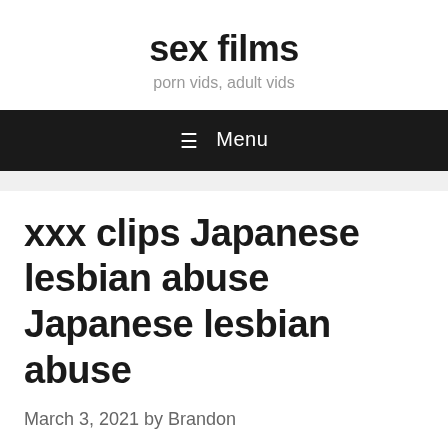sex films
porn vids, adult vids
xxx clips Japanese lesbian abuse Japanese lesbian abuse
March 3, 2021 by Brandon